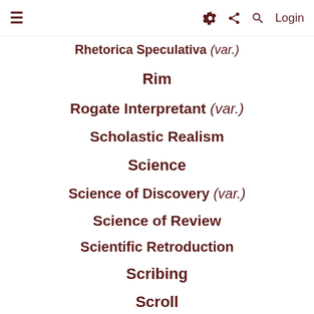≡  ⚙ < Q  Login
Rhetorica Speculativa (var.)
Rim
Rogate Interpretant (var.)
Scholastic Realism
Science
Science of Discovery (var.)
Science of Review
Scientific Retroduction
Scribing
Scroll